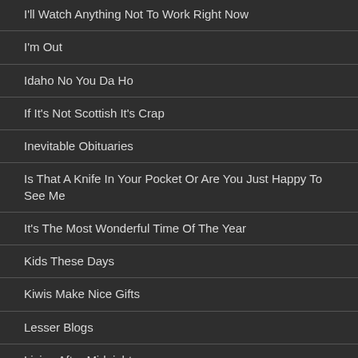I'll Watch Anything Not To Work Right Now
I'm Out
Idaho No You Da Ho
If It's Not Scottish It's Crap
Inevitable Obituaries
Is That A Knife In Your Pocket Or Are You Just Happy To See Me
It's The Most Wonderful Time Of The Year
Kids These Days
Kiwis Make Nice Gifts
Lesser Blogs
Living After Midnight